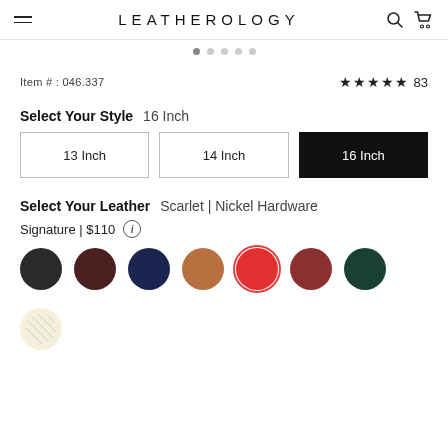LEATHEROLOGY
Item # : 046.337   ★★★★★ 83
Select Your Style   16 Inch
13 Inch | 14 Inch | 16 Inch
Select Your Leather   Scarlet | Nickel Hardware
Signature | $110
[Figure (illustration): Color swatches: charcoal, dark brown, navy, tan, scarlet (selected with red ring), rust red, dark green, and one cream/unavailable swatch]